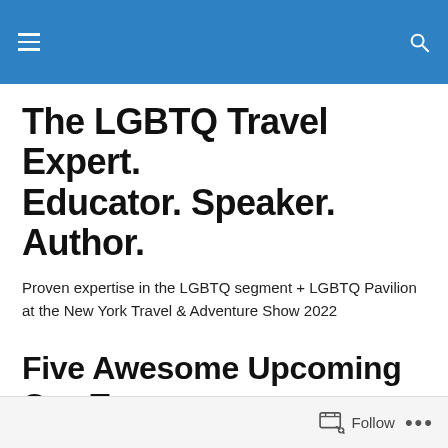The LGBTQ Travel Expert. Educator. Speaker. Author.
The LGBTQ Travel Expert. Educator. Speaker. Author.
Proven expertise in the LGBTQ segment + LGBTQ Pavilion at the New York Travel & Adventure Show 2022
Five Awesome Upcoming Gay Tours
Follow ...